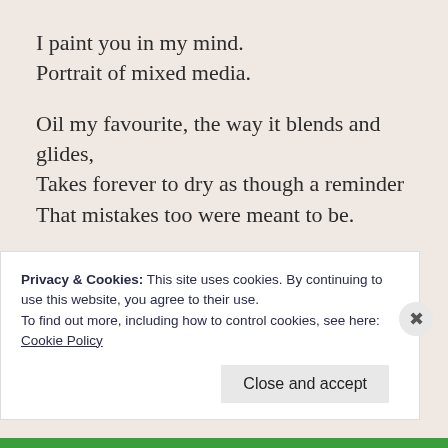I paint you in my mind.
Portrait of mixed media.

Oil my favourite, the way it blends and glides,
Takes forever to dry as though a reminder
That mistakes too were meant to be.

Needle and thread in hand,
I begin my next conquest,
Sew along the edges,
‘Just to add dimension’, I say,
Then find myself entranced
Privacy & Cookies: This site uses cookies. By continuing to use this website, you agree to their use.
To find out more, including how to control cookies, see here: Cookie Policy
Close and accept